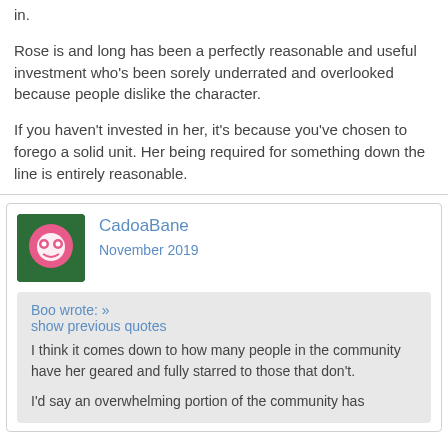in.
Rose is and long has been a perfectly reasonable and useful investment who's been sorely underrated and overlooked because people dislike the character.
If you haven't invested in her, it's because you've chosen to forego a solid unit. Her being required for something down the line is entirely reasonable.
CadoaBane
November 2019
Boo wrote: »
show previous quotes
I think it comes down to how many people in the community have her geared and fully starred to those that don't.
I'd say an overwhelming portion of the community has